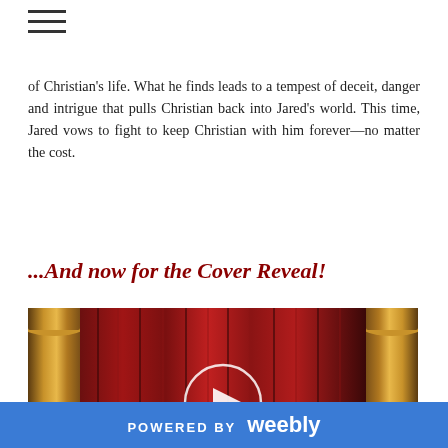≡
of Christian's life. What he finds leads to a tempest of deceit, danger and intrigue that pulls Christian back into Jared's world. This time, Jared vows to fight to keep Christian with him forever—no matter the cost.
...And now for the Cover Reveal!
[Figure (screenshot): Video thumbnail showing red stage curtains with gold pillars on left and right sides, and a white circular play button in the center]
POWERED BY weebly